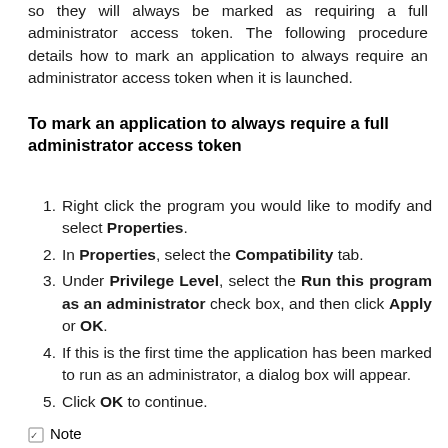so they will always be marked as requiring a full administrator access token. The following procedure details how to mark an application to always require an administrator access token when it is launched.
To mark an application to always require a full administrator access token
Right click the program you would like to modify and select Properties.
In Properties, select the Compatibility tab.
Under Privilege Level, select the Run this program as an administrator check box, and then click Apply or OK.
If this is the first time the application has been marked to run as an administrator, a dialog box will appear.
Click OK to continue.
Note